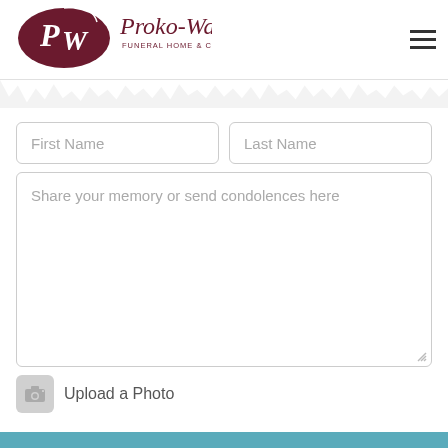[Figure (logo): Proko-Wall Funeral Home & Crematory logo with oval dark red emblem and stylized PW letters]
First Name
Last Name
Share your memory or send condolences here
Upload a Photo